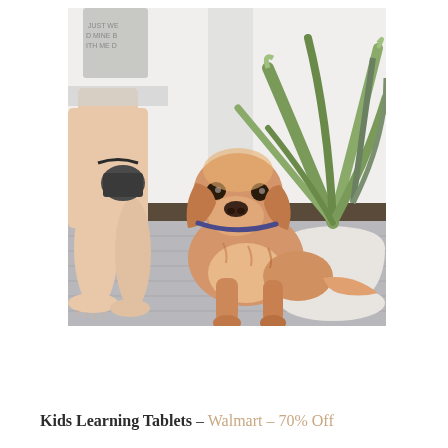[Figure (photo): A golden retriever dog sitting on a grey wooden deck next to a person's bare legs, with large green potted tropical plants in the background and a white wall behind.]
Kids Learning Tablets – Walmart – 70% Off